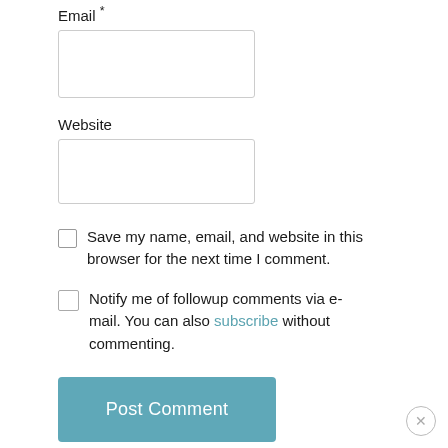Email *
[Figure (other): Empty text input box for Email field]
Website
[Figure (other): Empty text input box for Website field]
Save my name, email, and website in this browser for the next time I comment.
Notify me of followup comments via e-mail. You can also subscribe without commenting.
Post Comment
[Figure (other): Close button (X) in bottom right corner]